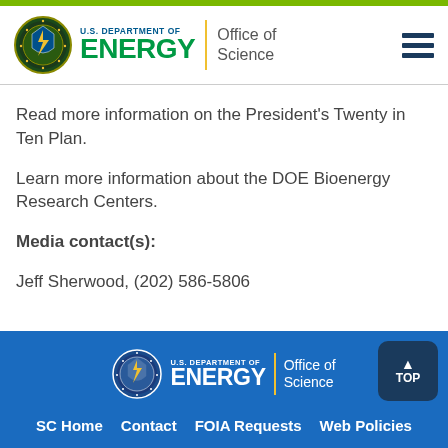[Figure (logo): U.S. Department of Energy Office of Science header logo with seal]
Read more information on the President's Twenty in Ten Plan.
Learn more information about the DOE Bioenergy Research Centers.
Media contact(s): Jeff Sherwood, (202) 586-5806
U.S. Department of Energy Office of Science footer with navigation links: SC Home | Contact | FOIA Requests | Web Policies